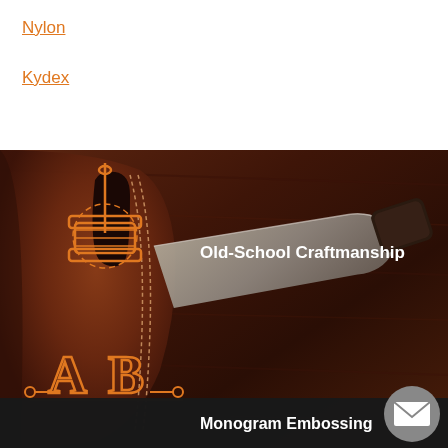Nylon
Kydex
[Figure (photo): Photo of leather holster and knife/cleaver on dark wood background with orange craftsman icons (needle/thread and AB monogram), text overlays reading 'Old-School Craftmanship' and 'Monogram Embossing', with a mail button in bottom right corner.]